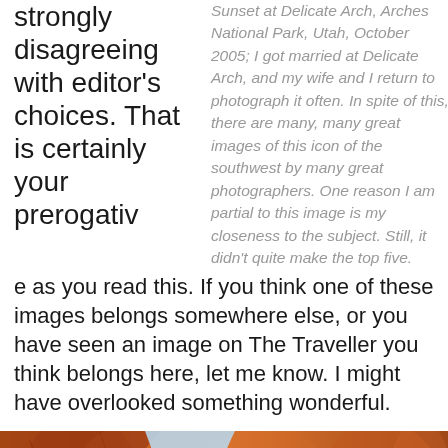strongly disagreeing with editor's choices. That is certainly your prerogative as you read this. If you think one of these images belongs somewhere else, or you have seen an image on The Traveller you think belongs here, let me know. I might have overlooked something wonderful.
Sunset at Delicate Arch, Arches National Park, Utah, October 2005; I got married at Delicate Arch, and my wife and I return to photograph it often. In spite of this, there are many, many great images of this icon of the southwest by many great photographers. One reason I am partial to this image is my closeness to the subject. Still, it didn't quite make the top five.
[Figure (photo): Close-up photo of Delicate Arch sandstone rock formation at Arches National Park, showing the orange-red rock texture with an arch opening revealing blue sky.]